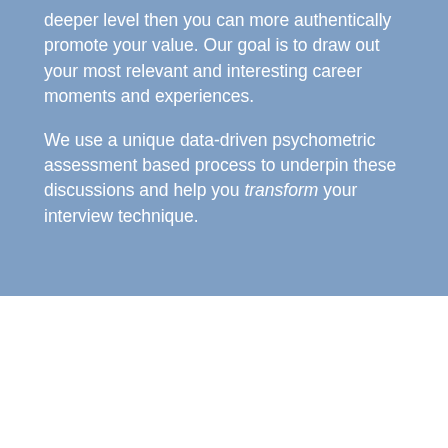deeper level then you can more authentically promote your value. Our goal is to draw out your most relevant and interesting career moments and experiences.
We use a unique data-driven psychometric assessment based process to underpin these discussions and help you transform your interview technique.